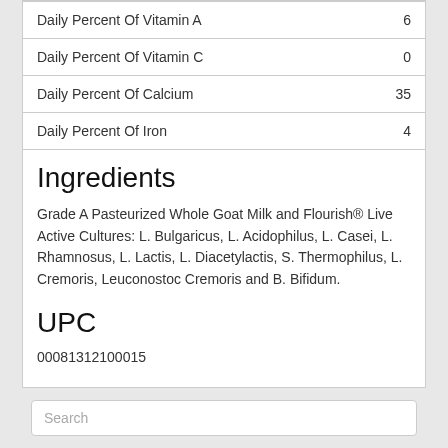| Nutrient | Value |
| --- | --- |
| Daily Percent Of Vitamin A | 6 |
| Daily Percent Of Vitamin C | 0 |
| Daily Percent Of Calcium | 35 |
| Daily Percent Of Iron | 4 |
Ingredients
Grade A Pasteurized Whole Goat Milk and Flourish® Live Active Cultures: L. Bulgaricus, L. Acidophilus, L. Casei, L. Rhamnosus, L. Lactis, L. Diacetylactis, S. Thermophilus, L. Cremoris, Leuconostoc Cremoris and B. Bifidum.
UPC
00081312100015